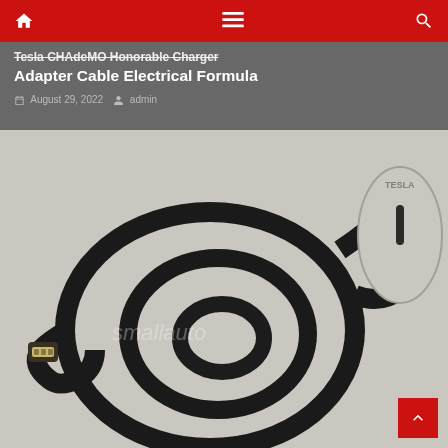Tesla CHAdeMO Honorable Charger Adapter Cable Electrical Formula
August 29, 2022  admin
[Figure (photo): A Tesla CHAdeMO charger adapter cable coiled on a white background, with the CHAdeMO plug on one end and the Tesla connector on the other. Watermark reads 'smallautomation'.]